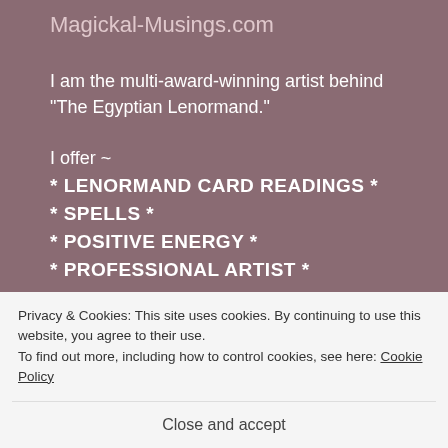Magickal-Musings.com
I am the multi-award-winning artist behind "The Egyptian Lenormand."
I offer ~
* LENORMAND CARD READINGS *
* SPELLS *
* POSITIVE ENERGY *
* PROFESSIONAL ARTIST *
Privacy & Cookies: This site uses cookies. By continuing to use this website, you agree to their use.
To find out more, including how to control cookies, see here: Cookie Policy
Close and accept
* FREE MAGICKAL INFO *